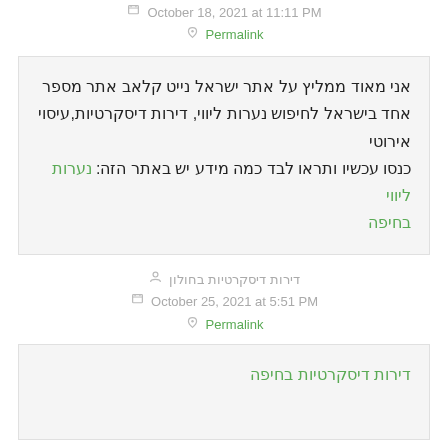October 18, 2021 at 11:11 PM  Permalink
אני מאוד ממליץ על אתר ישראל נייט קלאב אתר מספר אחד בישראל לחיפוש נערות ליווי, דירות דיסקרטיות,עיסוי אירוטי
כנסו עכשיו ותראו לבד כמה מידע יש באתר הזה: נערות ליווי בחיפה
דירות דיסקרטיות בחולון
October 25, 2021 at 5:51 PM  Permalink
דירות דיסקרטיות בחיפה
□□□□□ □□
October 25, 2021 at 7:06 PM  Permalink